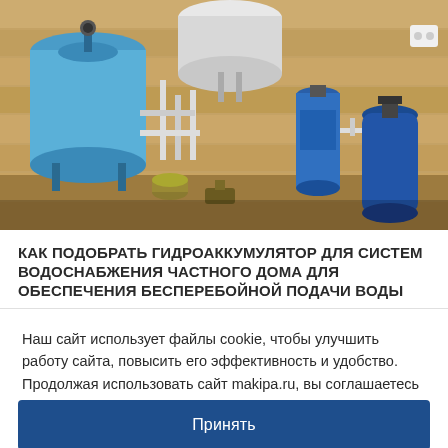[Figure (photo): Photo of a water supply system installation in a wooden room showing a blue pressure accumulator tank on the left, water heater on top center, blue water filter housings on the right, and various pipes and fittings connecting the components.]
КАК ПОДОБРАТЬ ГИДРОАККУМУЛЯТОР ДЛЯ СИСТЕМ ВОДОСНАБЖЕНИЯ ЧАСТНОГО ДОМА ДЛЯ ОБЕСПЕЧЕНИЯ БЕСПЕРЕБОЙНОЙ ПОДАЧИ ВОДЫ
Гидроаккумулятор для скважины подбирается исходя из
Наш сайт использует файлы cookie, чтобы улучшить работу сайта, повысить его эффективность и удобство. Продолжая использовать сайт makipa.ru, вы соглашаетесь на использование файлов cookie.
Принять